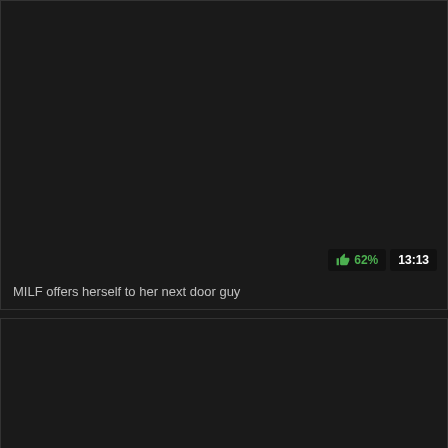[Figure (screenshot): Dark video thumbnail card with rating badge showing 62% and duration 13:13]
MILF offers herself to her next door guy
[Figure (screenshot): Second dark video thumbnail card, content not visible]